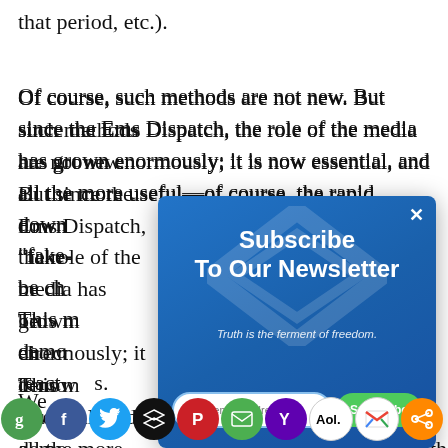that period, etc.).
Of course, such methods are not new. But since the Ems Dispatch, the role of the media has grown enormously; it is now essential, and all the more useful—of course, the rapid downfall... the "fake-..." ...easily be ch... r. This m... direct... demo... that react... s.
[Figure (infographic): Subscribe To Our Newsletter modal overlay with blue gradient background, diamond logo watermark, italic tagline 'Truth is the ferment of freedom.', email input field and green Subscribe button]
[Figure (infographic): Social sharing bar with icons: green G (Goodreads), blue F (Facebook), light blue Twitter bird, black layers (Buffer), red Pinterest P, teal envelope (email), purple Yahoo Y, purple/white Yahoo, white AOL, white Gmail M, orange share icon]